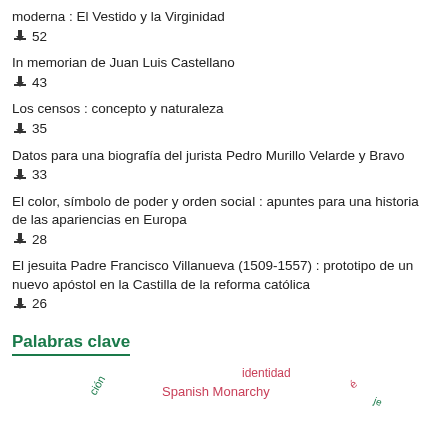moderna : El Vestido y la Virginidad
⬇ 52
In memorian de Juan Luis Castellano
⬇ 43
Los censos : concepto y naturaleza
⬇ 35
Datos para una biografía del jurista Pedro Murillo Velarde y Bravo
⬇ 33
El color, símbolo de poder y orden social : apuntes para una historia de las apariencias en Europa
⬇ 28
El jesuita Padre Francisco Villanueva (1509-1557) : prototipo de un nuevo apóstol en la Castilla de la reforma católica
⬇ 26
Palabras clave
[Figure (other): Tag cloud showing keywords: identidad, Spanish Monarchy, acción, and other partially visible tags in green and pink colors]